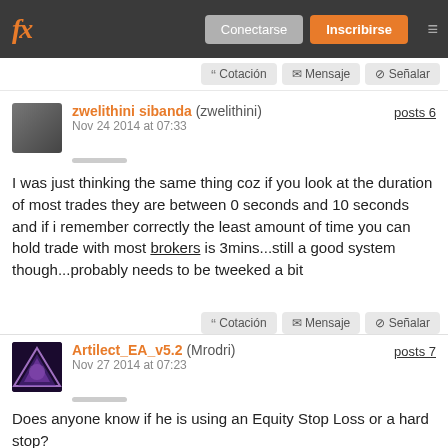fx — Conectarse | Inscribirse
Cotación Mensaje Señalar
zwelithini sibanda (zwelithini) Nov 24 2014 at 07:33 — posts 6
I was just thinking the same thing coz if you look at the duration of most trades they are between 0 seconds and 10 seconds and if i remember correctly the least amount of time you can hold trade with most brokers is 3mins...still a good system though...probably needs to be tweeked a bit
Cotación Mensaje Señalar
Artilect_EA_v5.2 (Mrodri) Nov 27 2014 at 07:23 — posts 7
Does anyone know if he is using an Equity Stop Loss or a hard stop?
Only you have the power to set yourself free!!!
Cotación Mensaje Señalar
szacsa68 — posts 5